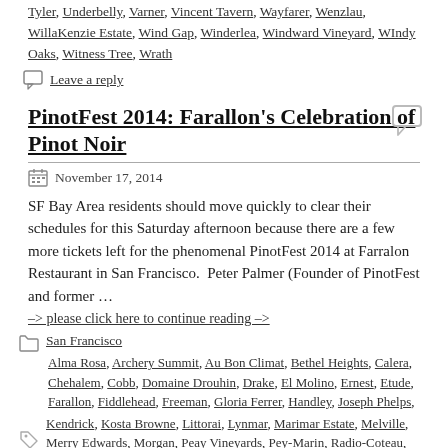Tyler, Underbelly, Varner, Vincent Tavern, Wayfarer, Wenzlau, WillaKenzie Estate, Wind Gap, Winderlea, Windward Vineyard, WIndy Oaks, Witness Tree, Wrath
Leave a reply
PinotFest 2014: Farallon's Celebration of Pinot Noir
November 17, 2014
SF Bay Area residents should move quickly to clear their schedules for this Saturday afternoon because there are a few more tickets left for the phenomenal PinotFest 2014 at Farralon Restaurant in San Francisco.  Peter Palmer (Founder of PinotFest and former …
–> please click here to continue reading –>
San Francisco
Alma Rosa, Archery Summit, Au Bon Climat, Bethel Heights, Calera, Chehalem, Cobb, Domaine Drouhin, Drake, El Molino, Ernest, Etude, Farallon, Fiddlehead, Freeman, Gloria Ferrer, Handley, Joseph Phelps, Kendrick, Kosta Browne, Littorai, Lynmar, Marimar Estate, Melville, Merry Edwards, Morgan, Peay Vineyards, Pey-Marin, Radio-Coteau, Saintsbury, Soter, Talisman, Talley, Tendril, Thomas Fogarty, Wayfarer